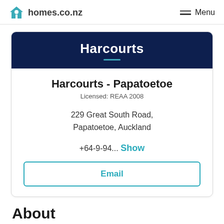homes.co.nz   Menu
[Figure (logo): Harcourts brand banner with dark navy background and white bold text 'Harcourts' with a teal underline]
Harcourts - Papatoetoe
Licensed: REAA 2008
229 Great South Road, Papatoetoe, Auckland
+64-9-94...  Show
Email
About